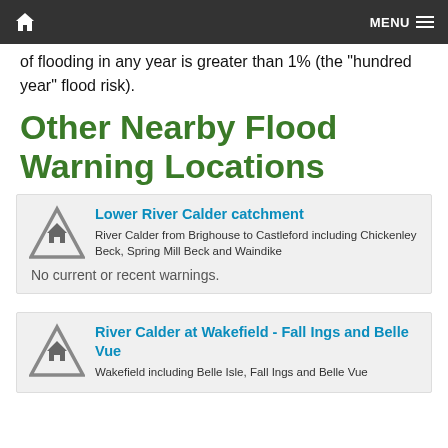Home | MENU
of flooding in any year is greater than 1% (the "hundred year" flood risk).
Other Nearby Flood Warning Locations
Lower River Calder catchment
River Calder from Brighouse to Castleford including Chickenley Beck, Spring Mill Beck and Waindike
No current or recent warnings.
River Calder at Wakefield - Fall Ings and Belle Vue
Wakefield including Belle Isle, Fall Ings and Belle Vue